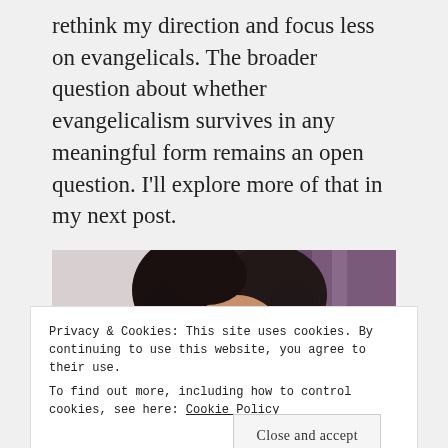rethink my direction and focus less on evangelicals. The broader question about whether evangelicalism survives in any meaningful form remains an open question. I'll explore more of that in my next post.
Sponsored Content
[Figure (photo): Photo of a woman with curly hair, partially visible, indoor setting with purple curtain in background]
Privacy & Cookies: This site uses cookies. By continuing to use this website, you agree to their use.
To find out more, including how to control cookies, see here: Cookie Policy
Close and accept